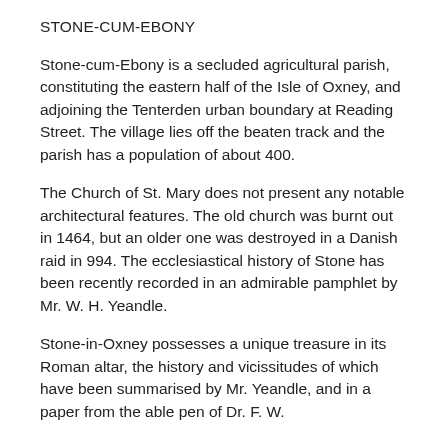STONE-CUM-EBONY
Stone-cum-Ebony is a secluded agricultural parish, constituting the eastern half of the Isle of Oxney, and adjoining the Tenterden urban boundary at Reading Street. The village lies off the beaten track and the parish has a population of about 400.
The Church of St. Mary does not present any notable architectural features. The old church was burnt out in 1464, but an older one was destroyed in a Danish raid in 994. The ecclesiastical history of Stone has been recently recorded in an admirable pamphlet by Mr. W. H. Yeandle.
Stone-in-Oxney possesses a unique treasure in its Roman altar, the history and vicissitudes of which have been summarised by Mr. Yeandle, and in a paper from the able pen of Dr. F. W.